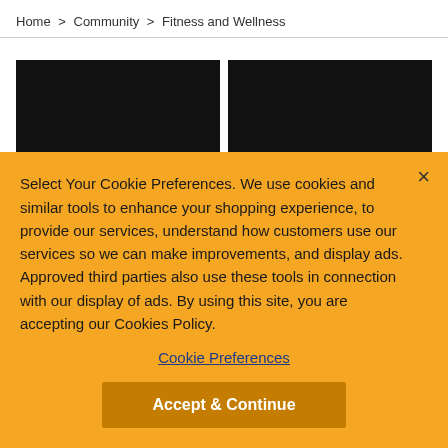Home > Community > Fitness and Wellness
[Figure (photo): Two dark/black video thumbnail images side by side]
Select Your Cookie Preferences. We use cookies and similar tools to enhance your shopping experience, to provide our services, understand how customers use our services so we can make improvements, and display ads. Approved third parties also use these tools in connection with our display of ads. By using this site, you are accepting our Cookies Policy.
Cookie Preferences
Accept & Continue